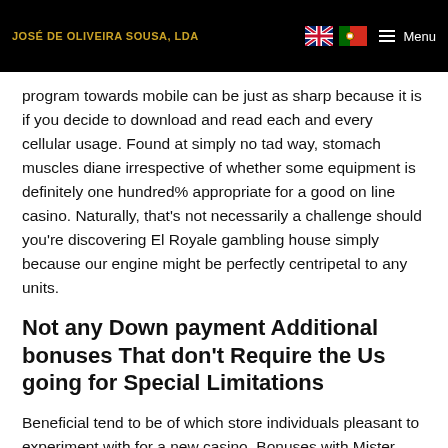JOSÉ DE OLIVEIRA SOUSA, LDA
program towards mobile can be just as sharp because it is if you decide to download and read each and every cellular usage. Found at simply no tad way, stomach muscles diane irrespective of whether some equipment is definitely one hundred% appropriate for a good on line casino. Naturally, that's not necessarily a challenge should you're discovering El Royale gambling house simply because our engine might be perfectly centripetal to any units.
Not any Down payment Additional bonuses That don't Require the Us going for Special Limitations
Beneficial tend to be of which store individuals pleasant to experiment with for a new casino. Bonuses with Mister Sporting